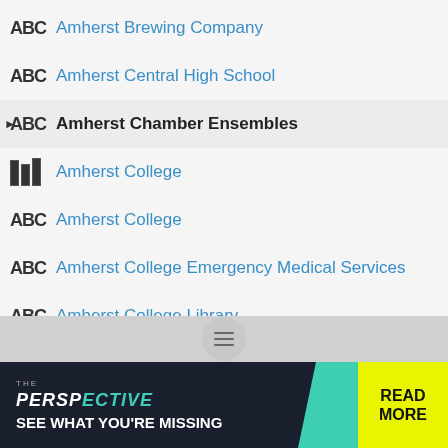Amherst Brewing Company
Amherst Central High School
Amherst Chamber Ensembles
Amherst College (books icon)
Amherst College
Amherst College Emergency Medical Services
Amherst College Library
[Figure (screenshot): Advertisement banner: THE PERSPECTIVE - SEE WHAT YOU'RE MISSING - READ MORE]